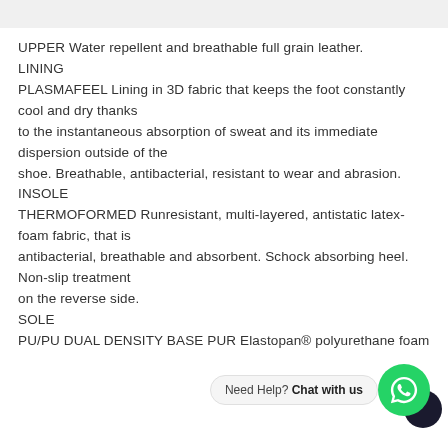UPPER Water repellent and breathable full grain leather. LINING PLASMAFEEL Lining in 3D fabric that keeps the foot constantly cool and dry thanks to the instantaneous absorption of sweat and its immediate dispersion outside of the shoe. Breathable, antibacterial, resistant to wear and abrasion. INSOLE THERMOFORMED Runresistant, multi-layered, antistatic latex-foam fabric, that is antibacterial, breathable and absorbent. Schock absorbing heel. Non-slip treatment on the reverse side. SOLE PU/PU DUAL DENSITY BASE PUR Elastopan® polyurethane foam